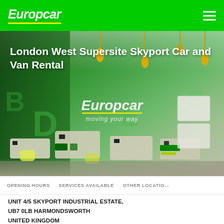Europcar
[Figure (photo): Interior of Europcar London West Supersite Skyport branch showing green-themed rental desk area with Europcar branding and 'moving your way' tagline]
London West Supersite Skyport Car and Van Rental
OPENING HOURS   SERVICES AVAILABLE   OTHER LOCATIONS
UNIT 4/5 SKYPORT INDUSTRIAL ESTATE,
UB7 0LB HARMONDSWORTH
UNITED KINGDOM